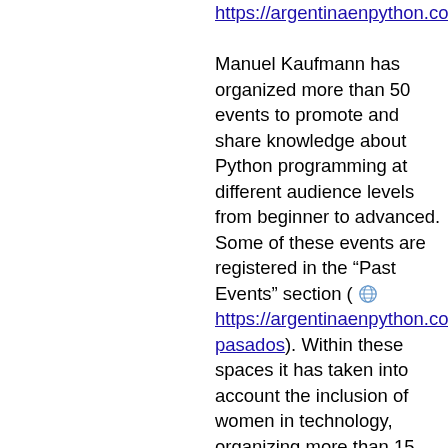https://argentinaenpython.com).

Manuel Kaufmann has organized more than 50 events to promote and share knowledge about Python programming at different audience levels from beginner to advanced. Some of these events are registered in the "Past Events" section ( https://argentinaenpython.com/e pasados). Within these spaces it has taken into account the inclusion of women in technology, organizing more than 15 Django Girls workshops throughout all Latin America. Gallery with a lot of pictures